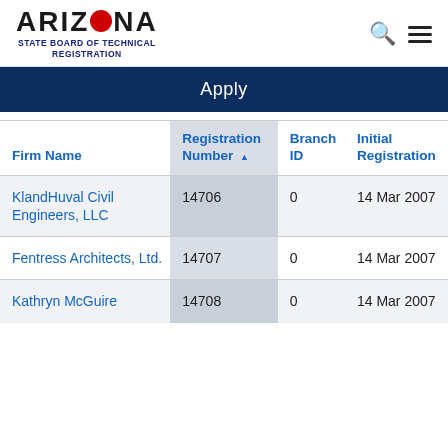ARIZONA STATE BOARD OF TECHNICAL REGISTRATION
Apply
| Firm Name | Registration Number ▲ | Branch ID | Initial Registration |
| --- | --- | --- | --- |
| KlandHuval Civil Engineers, LLC | 14706 | 0 | 14 Mar 2007 |
| Fentress Architects, Ltd. | 14707 | 0 | 14 Mar 2007 |
| Kathryn McGuire | 14708 | 0 | 14 Mar 2007 |